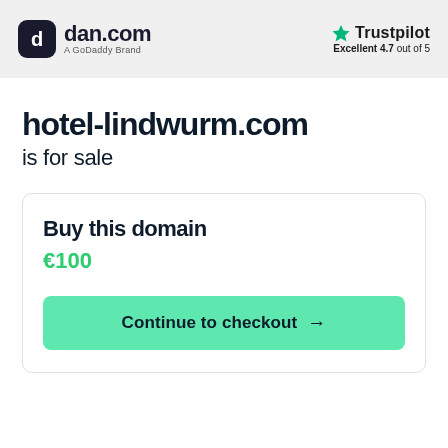[Figure (logo): dan.com logo with dark rounded square icon and text 'dan.com' with subtitle 'A GoDaddy Brand']
[Figure (logo): Trustpilot logo with green star and text 'Trustpilot', subtitle 'Excellent 4.7 out of 5']
hotel-lindwurm.com is for sale
Buy this domain
€100
Continue to checkout →